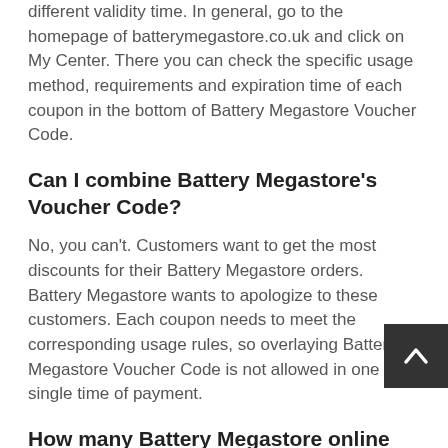different validity time. In general, go to the homepage of batterymegastore.co.uk and click on My Center. There you can check the specific usage method, requirements and expiration time of each coupon in the bottom of Battery Megastore Voucher Code.
Can I combine Battery Megastore's Voucher Code?
No, you can't. Customers want to get the most discounts for their Battery Megastore orders. Battery Megastore wants to apologize to these customers. Each coupon needs to meet the corresponding usage rules, so overlaying Battery Megastore Voucher Code is not allowed in one single time of payment.
How many Battery Megastore online Voucher Code are available?
The number of Coupon Code of Battery Megastore